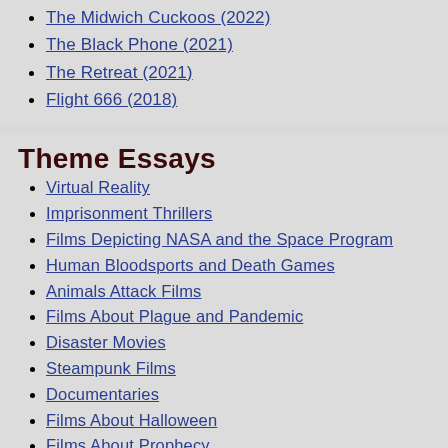The Midwich Cuckoos (2022)
The Black Phone (2021)
The Retreat (2021)
Flight 666 (2018)
Theme Essays
Virtual Reality
Imprisonment Thrillers
Films Depicting NASA and the Space Program
Human Bloodsports and Death Games
Animals Attack Films
Films About Plague and Pandemic
Disaster Movies
Steampunk Films
Documentaries
Films About Halloween
Films About Prophecy
Magicians and Sorcerers